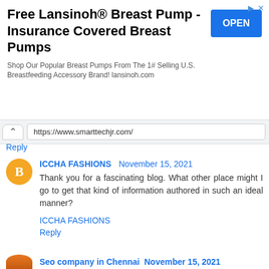[Figure (screenshot): Advertisement banner for Lansinoh Breast Pump with OPEN button]
Free Lansinoh® Breast Pump - Insurance Covered Breast Pumps
Shop Our Popular Breast Pumps From The 1# Selling U.S. Breastfeeding Accessory Brand! lansinoh.com
https://www.smarttechjr.com/
Reply
ICCHA FASHIONS November 15, 2021
Thank you for a fascinating blog. What other place might I go to get that kind of information authored in such an ideal manner?
ICCHA FASHIONS
Reply
Seo company in Chennai November 15, 2021